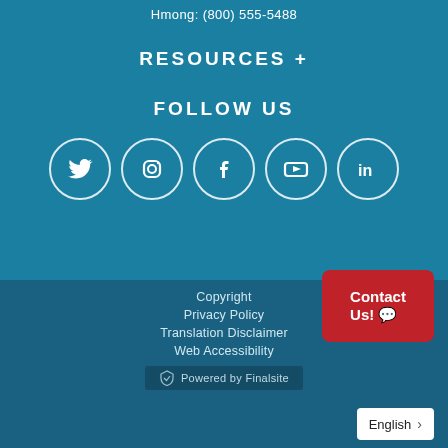Hmong: (800) 555-5488
RESOURCES +
FOLLOW US
[Figure (illustration): Five social media icons in white circles on teal background: Twitter, Instagram, Facebook, YouTube, LinkedIn]
[Figure (other): Red Contact Us button with speech bubble icon, positioned at top-right of footer]
Copyright
Privacy Policy
Translation Disclaimer
Web Accessibility
[Figure (logo): Powered by Finalsite logo with shield icon]
English  >